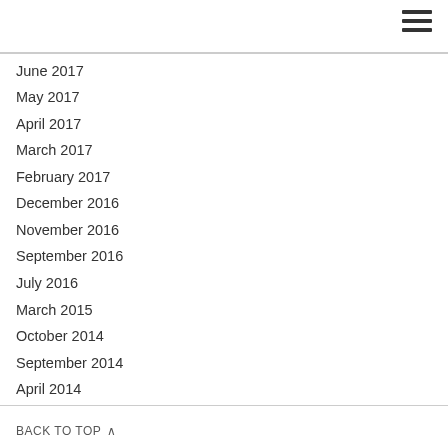June 2017
May 2017
April 2017
March 2017
February 2017
December 2016
November 2016
September 2016
July 2016
March 2015
October 2014
September 2014
April 2014
February 2014
January 2014
December 2013
BACK TO TOP ^